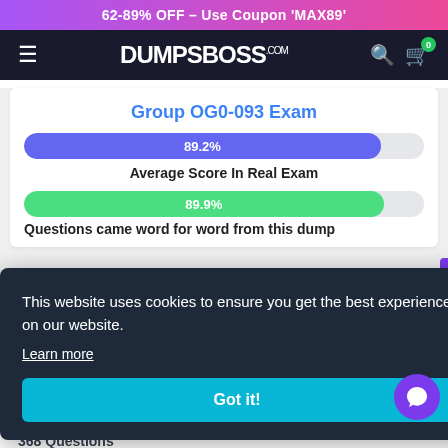62-89% OFF – Use Coupon 'MAX89'
[Figure (screenshot): DumpsBoss.com navigation bar with hamburger menu, logo, search and cart icons]
Group OG0-093 Exam
[Figure (bar-chart): Average Score In Real Exam]
Average Score In Real Exam
[Figure (bar-chart): Questions came word for word from this dump]
Questions came word for word from this dump
This website uses cookies to ensure you get the best experience on our website.
Learn more
Got it!
368 Questions